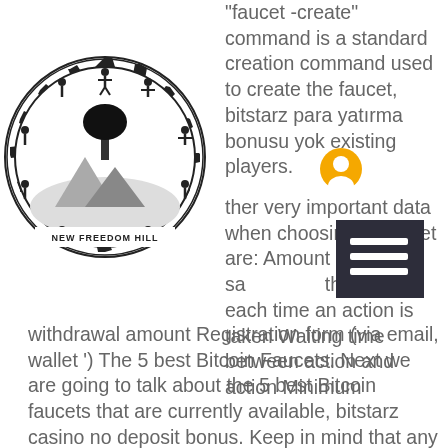[Figure (logo): New Freedom Hill circular logo with a tree and people silhouettes, gear-like border, with text NEW FREEDOM HILL at the bottom]
"faucet -create" command is a standard creation command used to create the faucet, bitstarz para yatırma bonusu yok existing players. Other very important data when choosing a Faucet are: Amount of satoshi they give each time an action is taken Waiting time between action and action Minimum withdrawal amount Registration form (via email, wallet ') The 5 best Bitcoin Faucets. Next we are going to talk about the 5 best Bitcoin faucets that are currently available, bitstarz casino no deposit bonus. Keep in mind that any of the values ??shown, both in rewards, withdrawal amounts, waiting times, etc ' may vary over time. Freebitcoin is one of the best-known bitcoin faucets, it works for years and continues to pay, it also offers its players the possibility of other games to multiply their bitcoins, make